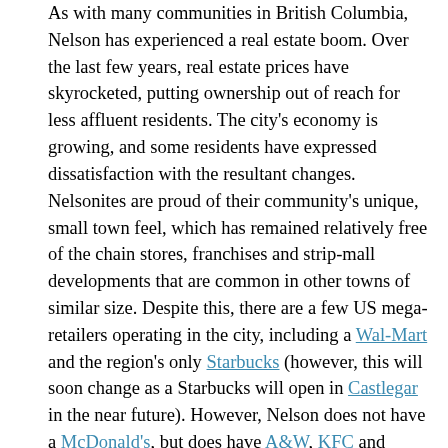As with many communities in British Columbia, Nelson has experienced a real estate boom. Over the last few years, real estate prices have skyrocketed, putting ownership out of reach for less affluent residents. The city's economy is growing, and some residents have expressed dissatisfaction with the resultant changes. Nelsonites are proud of their community's unique, small town feel, which has remained relatively free of the chain stores, franchises and strip-mall developments that are common in other towns of similar size. Despite this, there are a few US mega-retailers operating in the city, including a Wal-Mart and the region's only Starbucks (however, this will soon change as a Starbucks will open in Castlegar in the near future). However, Nelson does not have a McDonald's, but does have A&W, KFC and Subway. There has been a push for residents to buy from local businesses as opposed to supporting large corporations.
Nelson is also a well-known alternative lifestyles hot spot. Hemp clothes and cannabis-related products are sold in local stores, and in July 2006, an owner of one of these stores was